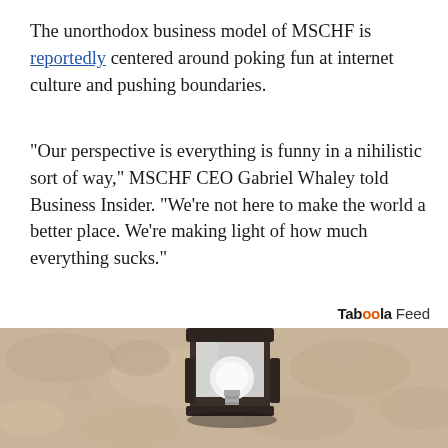The unorthodox business model of MSCHF is reportedly centered around poking fun at internet culture and pushing boundaries.
"Our perspective is everything is funny in a nihilistic sort of way," MSCHF CEO Gabriel Whaley told Business Insider. "We're not here to make the world a better place. We're making light of how much everything sucks."
Taboola Feed
[Figure (photo): Outdoor wall lantern/light fixture mounted on a textured stucco wall, showing a dark metal lamp housing with a white bulb visible inside, photographed from below at an angle.]